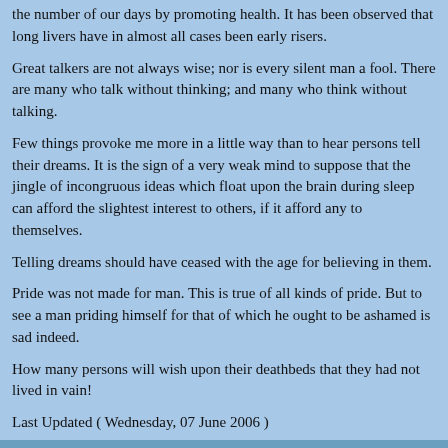the number of our days by promoting health. It has been observed that long livers have in almost all cases been early risers.
Great talkers are not always wise; nor is every silent man a fool. There are many who talk without thinking; and many who think without talking.
Few things provoke me more in a little way than to hear persons tell their dreams. It is the sign of a very weak mind to suppose that the jingle of incongruous ideas which float upon the brain during sleep can afford the slightest interest to others, if it afford any to themselves.
Telling dreams should have ceased with the age for believing in them.
Pride was not made for man. This is true of all kinds of pride. But to see a man priding himself for that of which he ought to be ashamed is sad indeed.
How many persons will wish upon their deathbeds that they had not lived in vain!
Last Updated ( Wednesday, 07 June 2006 )